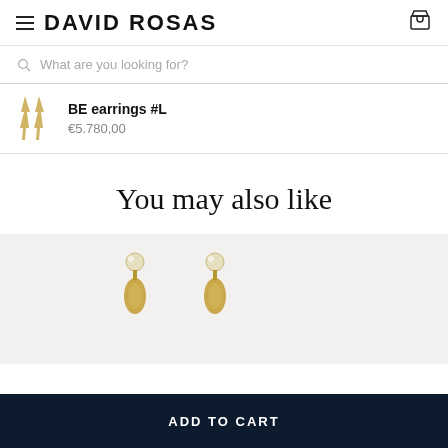DAVID ROSAS
What are you looking for?
BE earrings #L
€5.780,00
You may also like
[Figure (photo): Two gold earrings with pearl/crystal tops on a light gray background, partially visible.]
ADD TO CART